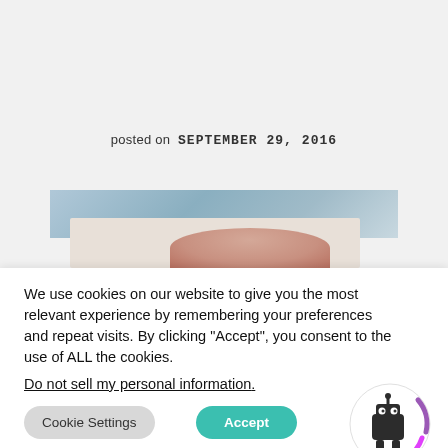posted on  SEPTEMBER 29, 2016
[Figure (photo): Partial view of a blog post image with blue background and skin-toned subject, cropped at bottom]
We use cookies on our website to give you the most relevant experience by remembering your preferences and repeat visits. By clicking “Accept”, you consent to the use of ALL the cookies.
Do not sell my personal information.
Cookie Settings
Accept